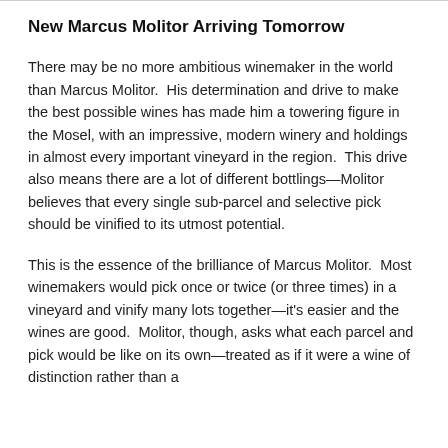New Marcus Molitor Arriving Tomorrow
There may be no more ambitious winemaker in the world than Marcus Molitor.  His determination and drive to make the best possible wines has made him a towering figure in the Mosel, with an impressive, modern winery and holdings in almost every important vineyard in the region.  This drive also means there are a lot of different bottlings—Molitor believes that every single sub-parcel and selective pick should be vinified to its utmost potential.
This is the essence of the brilliance of Marcus Molitor.  Most winemakers would pick once or twice (or three times) in a vineyard and vinify many lots together—it's easier and the wines are good.  Molitor, though, asks what each parcel and pick would be like on its own—treated as if it were a wine of distinction rather than a